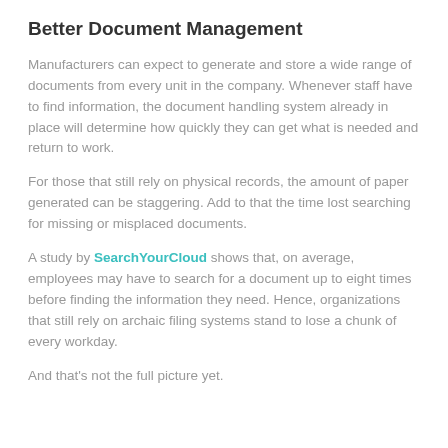Better Document Management
Manufacturers can expect to generate and store a wide range of documents from every unit in the company. Whenever staff have to find information, the document handling system already in place will determine how quickly they can get what is needed and return to work.
For those that still rely on physical records, the amount of paper generated can be staggering. Add to that the time lost searching for missing or misplaced documents.
A study by SearchYourCloud shows that, on average, employees may have to search for a document up to eight times before finding the information they need. Hence, organizations that still rely on archaic filing systems stand to lose a chunk of every workday.
And that's not the full picture yet.